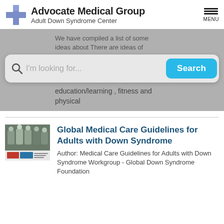Advocate Medical Group Adult Down Syndrome Center
We have compiled a list of some ideas about There are ideas of
I'm looking for...
education/learning , fitness and physical
[Figure (photo): Photo of medical team with doctors and staff, with a Medical Care Guidelines book cover below]
Global Medical Care Guidelines for Adults with Down Syndrome
Author: Medical Care Guidelines for Adults with Down Syndrome Workgroup - Global Down Syndrome Foundation